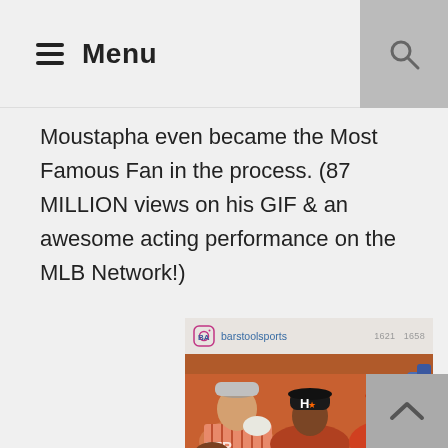≡ Menu
Moustapha even became the Most Famous Fan in the process. (87 MILLION views on his GIF & an awesome acting performance on the MLB Network!)
[Figure (screenshot): Instagram post from barstoolsports showing fans at a Houston Astros baseball game wearing orange Astros caps, with a man in striped shirt visible among the crowd]